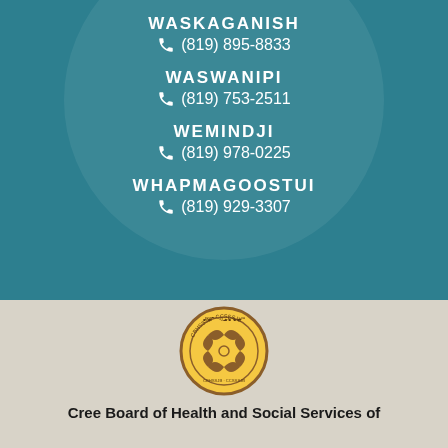WASKAGANISH
(819) 895-8833
WASWANIPI
(819) 753-2511
WEMINDJI
(819) 978-0225
WHAPMAGOOSTUI
(819) 929-3307
[Figure (logo): Cree Board of Health and Social Services of James Bay (CBHSSJB / CCSSSJB) circular logo with orange and brown colors, featuring a stylized cross/flower symbol and text around the border]
Cree Board of Health and Social Services of